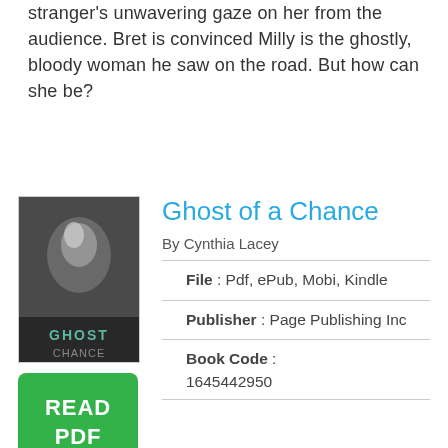stranger's unwavering gaze on her from the audience. Bret is convinced Milly is the ghostly, bloody woman he saw on the road. But how can she be?
Ghost of a Chance
By Cynthia Lacey
File : Pdf, ePub, Mobi, Kindle
Publisher : Page Publishing Inc
Book Code : 1645442950
[Figure (illustration): Book cover for 'Ghost of a Chance' showing a dark moody image with ghostly figure, with title text GHOST CHANCE at the bottom]
[Figure (other): Green READ PDF button]